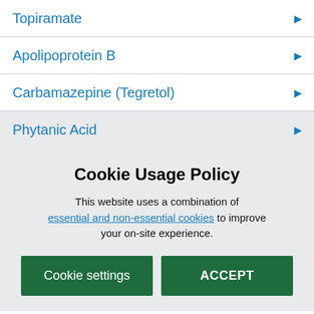Topiramate
Apolipoprotein B
Carbamazepine (Tegretol)
Phytanic Acid
Cookie Usage Policy
This website uses a combination of essential and non-essential cookies to improve your on-site experience.
Cookie settings
ACCEPT